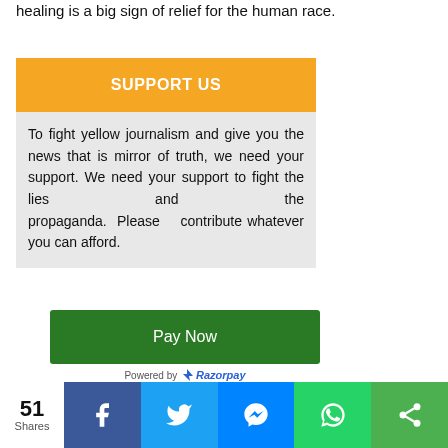healing is a big sign of relief for the human race.
SUPPORT US
To fight yellow journalism and give you the news that is mirror of truth, we need your support. We need your support to fight the lies and the propaganda. Please contribute whatever you can afford.
Pay Now
Powered by Razorpay
51 Shares